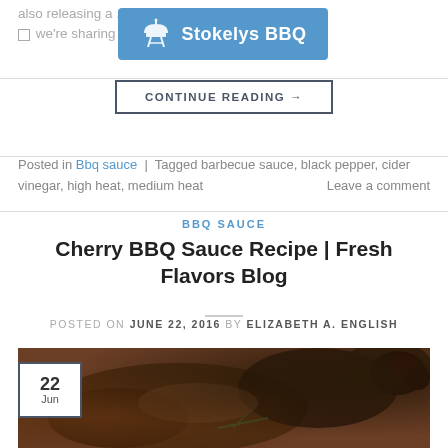also releasing a ... and this year we're sharing so...
[Figure (logo): Stokelys BBQ logo — blue rounded rectangle with grill icon and white text 'Stokelys BBQ']
CONTINUE READING →
Posted in Bbq sauce | Tagged barbecue sauce, black pepper, cider vinegar, high heat, medium heat   Leave a comment
BBQ SAUCE
Cherry BBQ Sauce Recipe | Fresh Flavors Blog
POSTED ON JUNE 22, 2016 BY ELIZABETH A. ENGLISH
[Figure (photo): Photo of grilled/barbecued meat with cherries, showing dark caramelized surface]
22 Jun